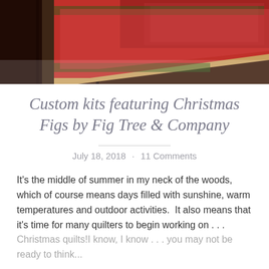[Figure (photo): A Christmas quilt or table runner with red, green, and dark brown fabric, featuring holiday fabric with holly and floral patterns, photographed from above on a dark wooden surface.]
Custom kits featuring Christmas Figs by Fig Tree & Company
July 18, 2018 · 11 Comments
It's the middle of summer in my neck of the woods, which of course means days filled with sunshine, warm temperatures and outdoor activities.  It also means that it's time for many quilters to begin working on . . . Christmas quilts!I know, I know . . . you may not be ready to think...
Continue reading